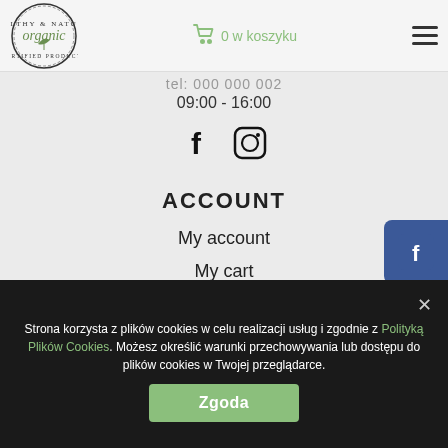Organic logo | 0 w koszyku | hamburger menu
tel: 000 000 002
09:00 - 16:00
[Figure (illustration): Facebook and Instagram social icons (text/symbol style)]
ACCOUNT
My account
My cart
Newsletter
[Figure (logo): Facebook square icon (blue) on right side]
[Figure (logo): Instagram square icon (gradient) on right side]
Strona korzysta z plików cookies w celu realizacji usług i zgodnie z Polityką Plików Cookies. Możesz określić warunki przechowywania lub dostępu do plików cookies w Twojej przeglądarce.
Zgoda